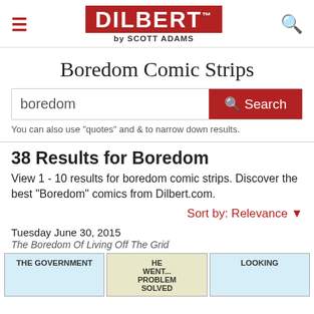DILBERT by SCOTT ADAMS
Boredom Comic Strips
boredom [Search]
You can also use "quotes" and & to narrow down results.
38 Results for Boredom
View 1 - 10 results for boredom comic strips. Discover the best "Boredom" comics from Dilbert.com.
Sort by: Relevance
Tuesday June 30, 2015
The Boredom Of Living Off The Grid
[Figure (screenshot): Three comic strip panels showing Dilbert comics. Left panel: 'THE GOVERNMENT', middle panel: 'HE WENT ... PROBLEM SOLVED', right panel: 'LOOKING']